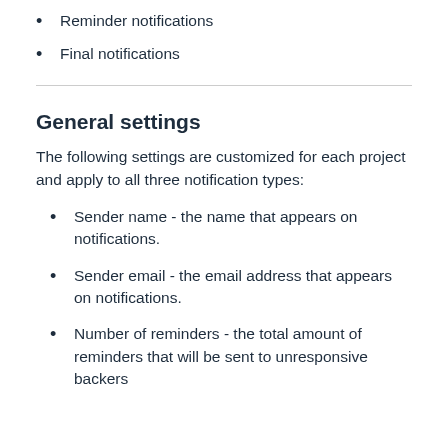Reminder notifications
Final notifications
General settings
The following settings are customized for each project and apply to all three notification types:
Sender name - the name that appears on notifications.
Sender email - the email address that appears on notifications.
Number of reminders - the total amount of reminders that will be sent to unresponsive backers